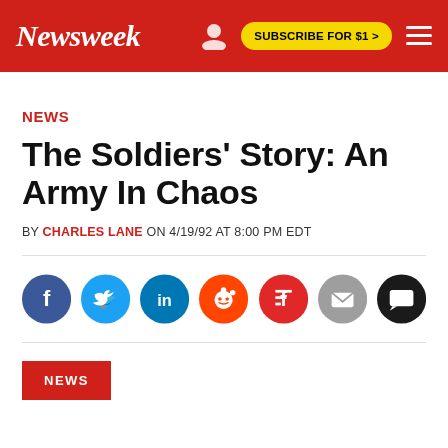Newsweek — SUBSCRIBE FOR $1 >
NEWS
The Soldiers' Story: An Army In Chaos
BY CHARLES LANE ON 4/19/92 AT 8:00 PM EDT
[Figure (infographic): Social sharing icons row: Facebook (dark blue), Twitter (light blue), LinkedIn (blue), Reddit (orange), Flipboard (red), Email (gray), Comment (black)]
NEWS